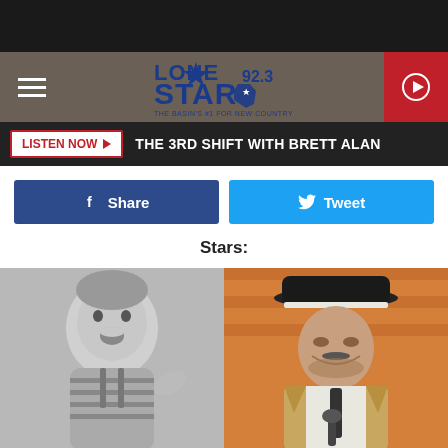[Figure (screenshot): Black top bar]
[Figure (logo): Lone Star 92.3 radio station logo with Texas outline and tagline 'The Basin's #1 For New Country']
LISTEN NOW ▶  THE 3RD SHIFT WITH BRETT ALAN
Share
Tweet
Stars:
[Figure (photo): Black and white baby photo on the left and a man wearing a black cowboy hat smiling at a podium on the right]